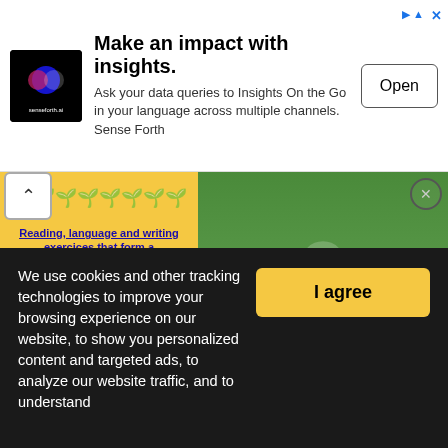[Figure (screenshot): Advertisement banner for senseforth.ai with logo, headline 'Make an impact with insights.', description text, and Open button]
[Figure (screenshot): Yellow educational content card: Reading, language and writing exercices that form a test(environment), Level: intermediate, Age: 12-17, Downloads: 151, with worksheet preview]
[Figure (screenshot): Video thumbnail: New Studies Highlight the Negative Effect of Pollution, with play button and close button]
We use cookies and other tracking technologies to improve your browsing experience on our website, to show you personalized content and targeted ads, to analyze our website traffic, and to understand